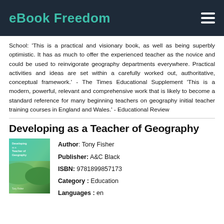eBook Freedom
School: 'This is a practical and visionary book, as well as being superbly optimistic. It has as much to offer the experienced teacher as the novice and could be used to reinvigorate geography departments everywhere. Practical activities and ideas are set within a carefully worked out, authoritative, conceptual framework.' - The Times Educational Supplement 'This is a modern, powerful, relevant and comprehensive work that is likely to become a standard reference for many beginning teachers on geography initial teacher training courses in England and Wales.' - Educational Review
Developing as a Teacher of Geography
[Figure (illustration): Book cover of 'Developing as a Teacher of Geography' by Tony Fisher, with teal and green gradient design]
Author: Tony Fisher
Publisher: A&C Black
ISBN: 9781899857173
Category: Education
Languages: en